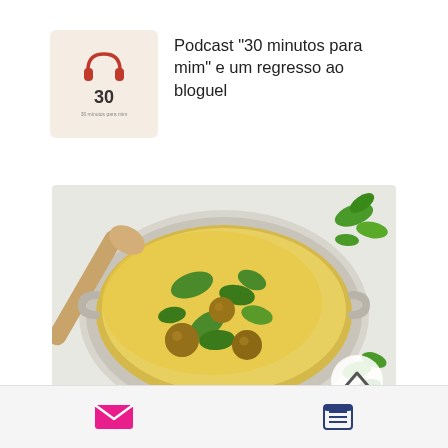[Figure (logo): Podcast logo thumbnail: beige background with headphones icon and number 30]
Podcast "30 minutos para mim" e um regresso ao bloguel
[Figure (photo): Overhead photo of a pot of soup with meatballs, spinach leaves, and golden broth, with a wooden spoon and fresh herbs around]
Canja leve de
[Figure (infographic): Bottom navigation bar with email icon (pink) and menu/list icon (dark blue)]